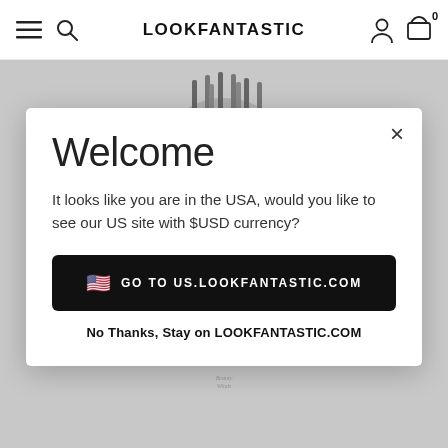LOOKFANTASTIC
[Figure (screenshot): Background showing a beauty hair brush tool (scalp massager/LED comb) against a grey background. The brush head with metal pins is visible at top, and the handle is visible at bottom.]
Welcome
It looks like you are in the USA, would you like to see our US site with $USD currency?
GO TO US.LOOKFANTASTIC.COM
No Thanks, Stay on LOOKFANTASTIC.COM